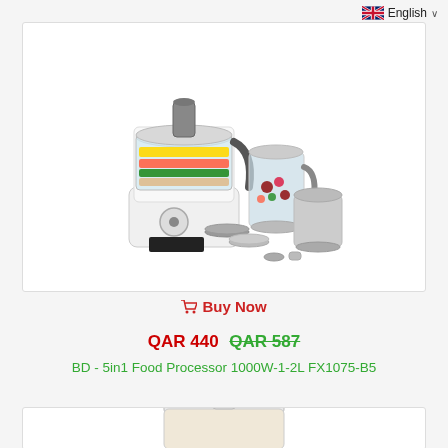English
[Figure (photo): Black+Decker 5in1 food processor product photo showing the main unit with transparent bowl containing colorful vegetables, a blender jar, a grinder, multiple disc attachments, and other accessories, all on white background]
Buy Now
QAR 440 QAR 587
BD - 5in1 Food Processor 1000W-1-2L FX1075-B5
[Figure (photo): Partial view of another kitchen appliance product, appears to be a pot or slow cooker with a glass lid, shown cropped at the bottom of the page]